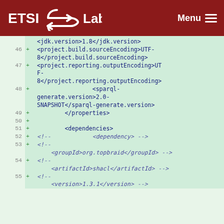ETSI Labs  Menu
[Figure (screenshot): Code diff view showing XML configuration lines 46-55 with line numbers and + markers on green background, containing project build/reporting encoding properties, sparql-generate version, properties closing tag, dependencies, and commented-out dependency elements]
<jdk.version>1.8</jdk.version>
46 + <project.build.sourceEncoding>UTF-8</project.build.sourceEncoding>
47 + <project.reporting.outputEncoding>UTF-8</project.reporting.outputEncoding>
48 +                 <sparql-generate.version>2.0-SNAPSHOT</sparql-generate.version>
49 +         </properties>
50 +
51 +         <dependencies>
52 + <!-- <dependency> -->
53 + <!-- <groupId>org.topbraid</groupId> -->
54 + <!-- <artifactId>shacl</artifactId> -->
55 + <!-- <version>1.3.1</version> -->